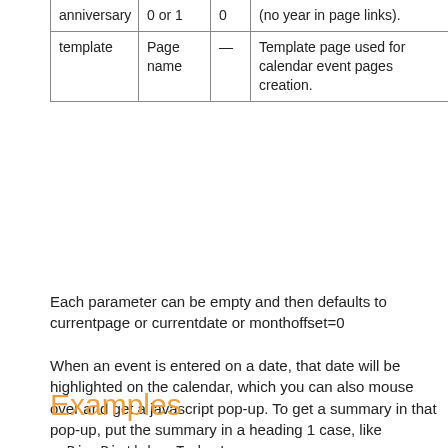| anniversary | 0 or 1 | 0 | (no year in page links). |
| template | Page name | — | Template page used for calendar event pages creation. |
Each parameter can be empty and then defaults to currentpage or currentdate or monthoffset=0
When an event is entered on a date, that date will be highlighted on the calendar, which you can also mouse over and get a javascript pop-up. To get a summary in that pop-up, put the summary in a heading 1 case, like
= Big Birthday Today! =
Examples